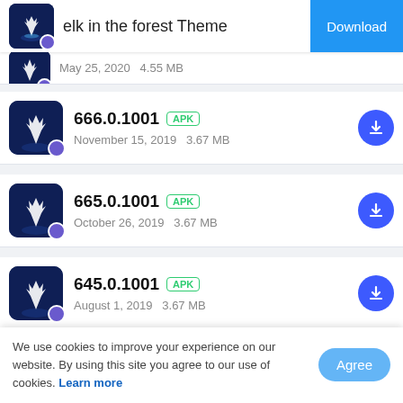elk in the forest Theme  Download
May 25, 2020   4.55 MB
666.0.1001  APK  November 15, 2019   3.67 MB
665.0.1001  APK  October 26, 2019   3.67 MB
645.0.1001  APK  August 1, 2019   3.67 MB
More Information
We use cookies to improve your experience on our website. By using this site you agree to our use of cookies. Learn more